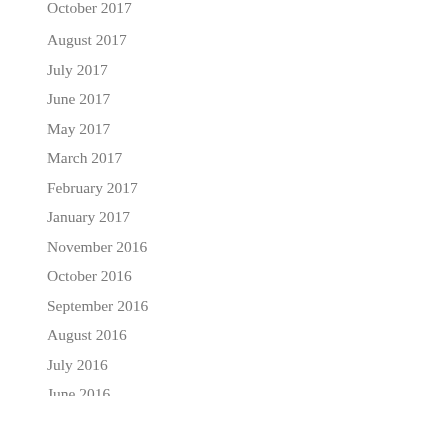October 2017
August 2017
July 2017
June 2017
May 2017
March 2017
February 2017
January 2017
November 2016
October 2016
September 2016
August 2016
July 2016
June 2016